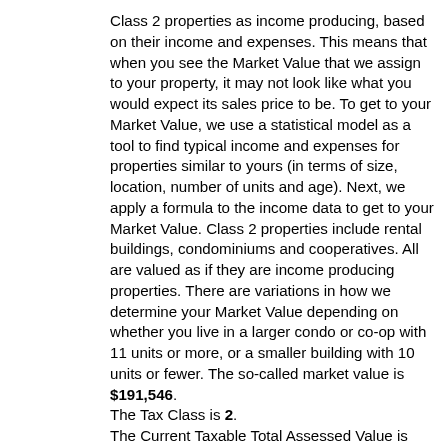Class 2 properties as income producing, based on their income and expenses. This means that when you see the Market Value that we assign to your property, it may not look like what you would expect its sales price to be. To get to your Market Value, we use a statistical model as a tool to find typical income and expenses for properties similar to yours (in terms of size, location, number of units and age). Next, we apply a formula to the income data to get to your Market Value. Class 2 properties include rental buildings, condominiums and cooperatives. All are valued as if they are income producing properties. There are variations in how we determine your Market Value depending on whether you live in a larger condo or co-op with 11 units or more, or a smaller building with 10 units or fewer. The so-called market value is $191,546. The Tax Class is 2. The Current Taxable Total Assessed Value is $83,742. The Actual Assessed Value Total (Values as of the Final Roll) is $0. The N.Y. State Law mandates that we value all Class 2 properties as income producing, based on their income and expenses. This means that